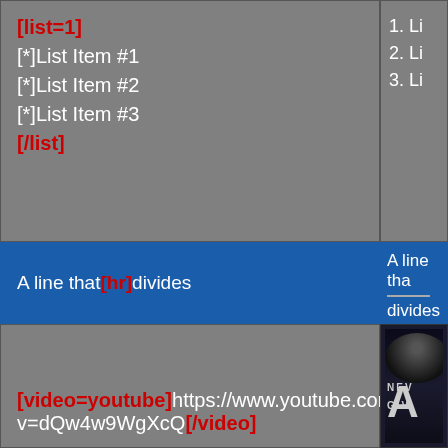[list=1]
[*]List Item #1
[*]List Item #2
[*]List Item #3
[/list]
1. Li...
2. Li...
3. Li...
A line that[hr]divides
A line that
---
divides
[video=youtube]https://www.youtube.com/watch?v=dQw4w9WgXcQ[/video]
[Figure (photo): Partial movie poster with a man's face visible and text including 'A', 'NEV', 'GIV']